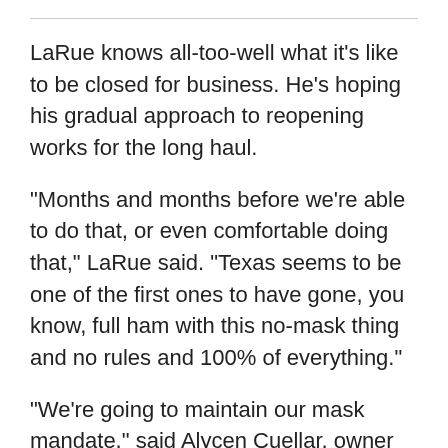LaRue knows all-too-well what it’s like to be closed for business. He’s hoping his gradual approach to reopening works for the long haul.
"Months and months before we’re able to do that, or even comfortable doing that," LaRue said. "Texas seems to be one of the first ones to have gone, you know, full ham with this no-mask thing and no rules and 100% of everything."
"We’re going to maintain our mask mandate," said Alycen Cuellar, owner of The Local Oak in the Bishop Arts District in Dallas. "Would I prefer not to wear one? Yes. But am I going to risk the health of others? No."
Cuellar said business is down 53%, but she had a mixed